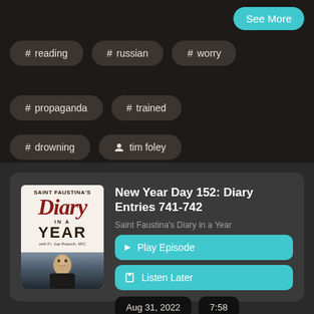See More
# reading
# russian
# worry
# propaganda
# trained
# drowning
tim foley
New Year Day 152: Diary Entries 741-742
Saint Faustina's Diary in a Year
▶ Play Episode
☐ Listen Later
Aug 31, 2022
7:58